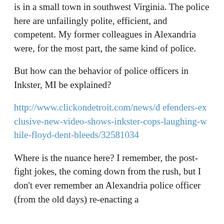is in a small town in southwest Virginia. The police here are unfailingly polite, efficient, and competent. My former colleagues in Alexandria were, for the most part, the same kind of police.
But how can the behavior of police officers in Inkster, MI be explained?
http://www.clickondetroit.com/news/defenders-exclusive-new-video-shows-inkster-cops-laughing-while-floyd-dent-bleeds/32581034
Where is the nuance here? I remember, the post-fight jokes, the coming down from the rush, but I don't ever remember an Alexandria police officer (from the old days) re-enacting a